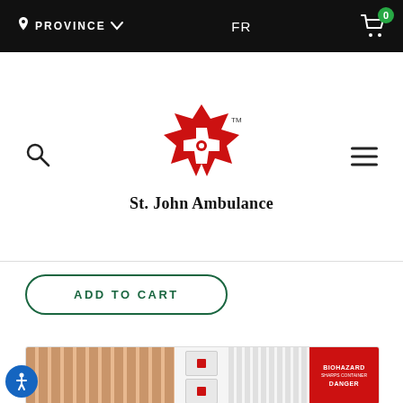PROVINCE  FR  [cart] 0
[Figure (logo): St. John Ambulance logo — red maple leaf with white Maltese cross, with registered trademark symbol]
St. John Ambulance
ADD TO CART
[Figure (photo): Product image showing bandages, first aid supplies, and a red Biohazard Danger label/bag]